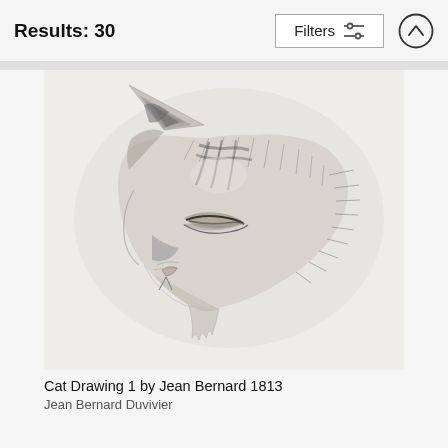Results: 30
[Figure (illustration): A pencil sketch drawing of a cat's head in profile, looking downward to the left. The drawing shows detailed shading and hatching to depict fur texture, with visible ear, closed eye, nose and whisker area. Attributed to Jean Bernard, 1813.]
Cat Drawing 1 by Jean Bernard 1813
Jean Bernard Duvivier